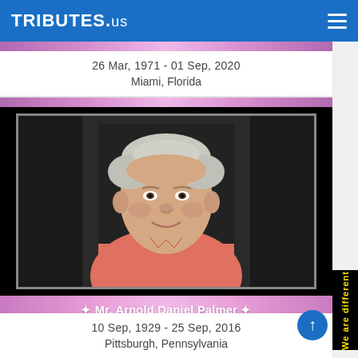TRIBUTES.us
26 Mar, 1971 - 01 Sep, 2020
Miami, Florida
[Figure (photo): Portrait photo of an elderly man with white/grey hair wearing a salmon/coral polo shirt, smiling at camera, displayed in a black frame with inner border]
Mr. Arnold Daniel Palmer
10 Sep, 1929 - 25 Sep, 2016
Pittsburgh, Pennsylvania